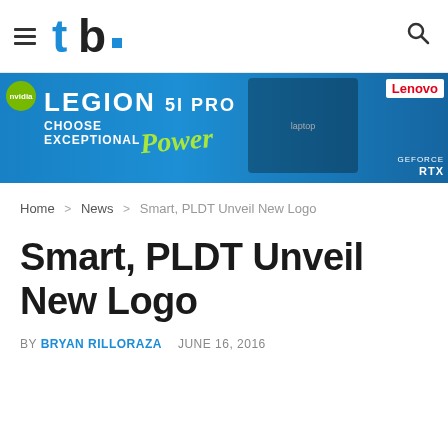tb (TechBeatPH) — hamburger menu, logo, search icon
[Figure (screenshot): Lenovo Legion 5i Pro advertisement banner — LEGION 5i Pro, CHOOSE EXCEPTIONAL Power, Lenovo, GEFORCE RTX]
Home > News > Smart, PLDT Unveil New Logo
Smart, PLDT Unveil New Logo
BY BRYAN RILLORAZA   JUNE 16, 2016